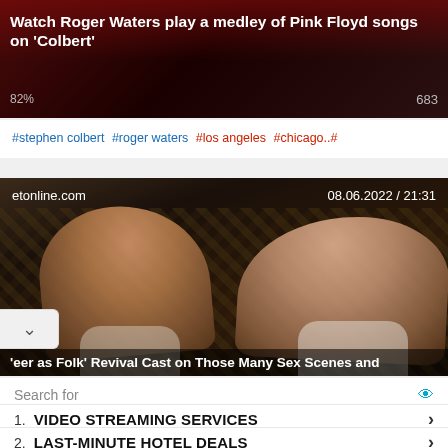[Figure (screenshot): Dark red/black background image for Roger Waters article card with title overlay]
Watch Roger Waters play a medley of Pink Floyd songs on 'Colbert'
82%   683
#stephen colbert  #roger waters  #los angeles  #chicago..#
[Figure (screenshot): Two people smiling and lying on a patterned rug/mat - still from 'Queer as Folk' Revival series on etonline.com, dated 08.06.2022 / 21:31]
'eer as Folk' Revival Cast on Those Many Sex Scenes and
Search for
1.  VIDEO STREAMING SERVICES  ›
2.  LAST-MINUTE HOTEL DEALS  ›
Yahoo! Search | Sponsored